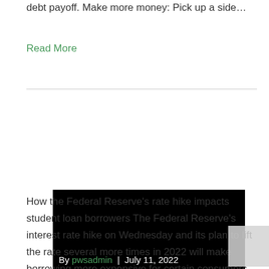debt payoff. Make more money: Pick up a side…
Read More
[Figure (photo): Black image/thumbnail block with author byline overlay: By pwsadmin | July 11, 2022]
How the Federal Reserve's rate hike impacts student loan borrowers The Federal Reserve's interest rate hike on Wednesday and its plan to lift the rate several more times in 2022 will make borrowing more expensive for certain consumers. Some people who currently hold student loans and others planning to soon borrow for their education